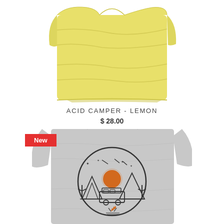[Figure (photo): Yellow plain t-shirt folded flat on white background, top portion visible]
ACID CAMPER - LEMON
$ 28.00
New
[Figure (photo): Gray heather t-shirt with a circular graphic design showing a desert scene with a van, campfire, cacti, mountains, sun and stars in a line art style]